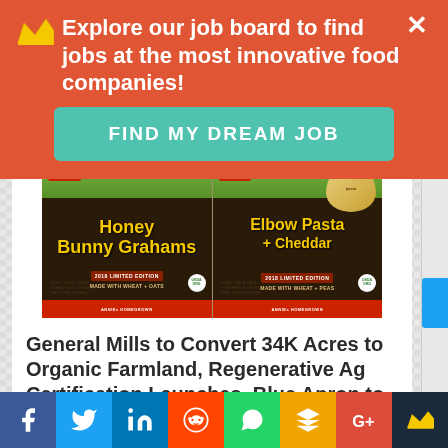Explore our job board to find jobs at the most innovative food companies!
FIND MY DREAM JOB
[Figure (photo): Two product packages: Honey Bunny Grahams (Made With Wheat + Oats) and Elbow Pasta + Cheddar (Made With Wheat + Peas), both 2018 Limited Edition organic products]
General Mills to Convert 34K Acres to Organic Farmland, Regenerative Ag Certification Launches, Blue Apron to Sell Meal Kits In Store + More
Every week we track the business, tech and investment trends in CPG, retail, restaurants,